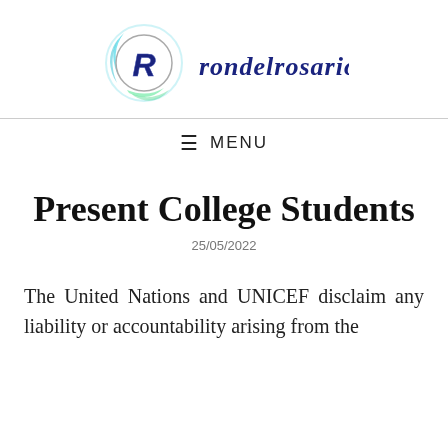[Figure (logo): rondelrosario website logo with stylized R in circle and swirl design, text 'rondelrosario' in blue italic script]
≡ MENU
Present College Students
25/05/2022
The United Nations and UNICEF disclaim any liability or accountability arising from the